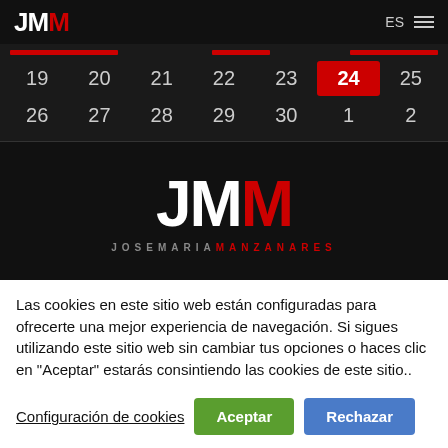[Figure (logo): JMM logo in navigation bar, white JM and red M letters]
[Figure (table-as-image): Calendar grid showing dates 19-25 and 26-2, with 24 highlighted in red]
[Figure (logo): Large JMM logo with JOSEMARIA MANZANARES tagline on black background]
Las cookies en este sitio web están configuradas para ofrecerte una mejor experiencia de navegación. Si sigues utilizando este sitio web sin cambiar tus opciones o haces clic en "Aceptar" estarás consintiendo las cookies de este sitio..
Configuración de cookies  Aceptar  Rechazar